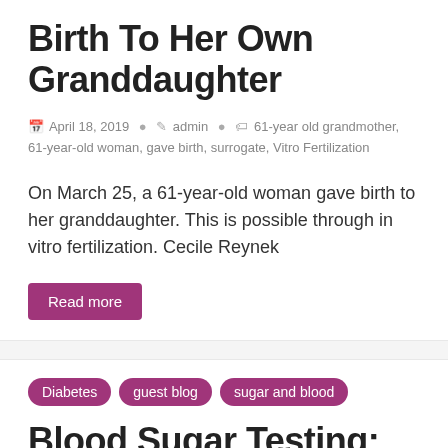Birth To Her Own Granddaughter
April 18, 2019  admin  61-year old grandmother, 61-year-old woman, gave birth, surrogate, Vitro Fertilization
On March 25, a 61-year-old woman gave birth to her granddaughter. This is possible through in vitro fertilization. Cecile Reynek
Read more
Diabetes
guest blog
sugar and blood
Blood Sugar Testing: Why, When, and How